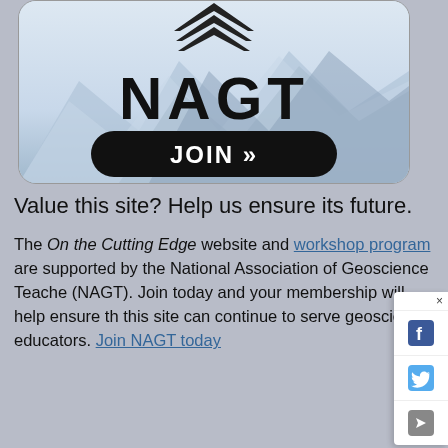[Figure (logo): NAGT (National Association of Geoscience Teachers) banner with mountain background, NAGT logo text, and a black rounded JOIN >> button]
Value this site? Help us ensure its future.
The On the Cutting Edge website and workshop program are supported by the National Association of Geoscience Teachers (NAGT). Join today and your membership will help ensure that this site can continue to serve geoscience educators. Join NAGT today